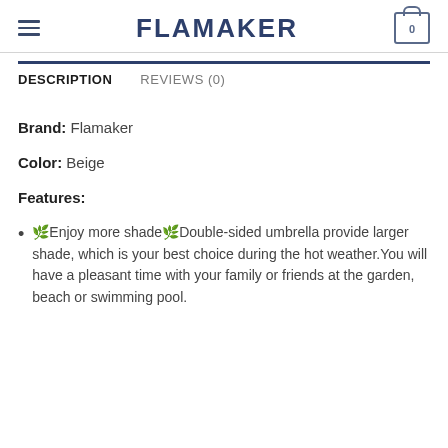FLAMAKER
DESCRIPTION
REVIEWS (0)
Brand: Flamaker
Color: Beige
Features:
🌿Enjoy more shade🌿Double-sided umbrella provide larger shade, which is your best choice during the hot weather.You will have a pleasant time with your family or friends at the garden, beach or swimming pool.